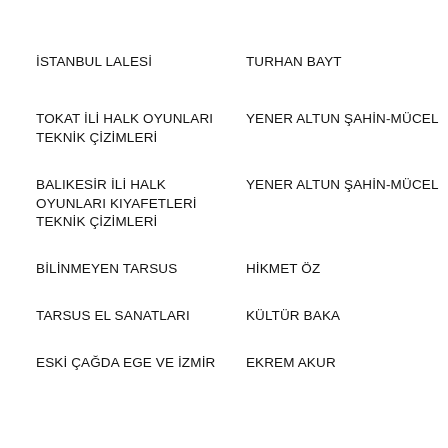İSTANBUL LALESİ	TURHAN BAYT
TOKAT İLİ HALK OYUNLARI TEKNİK ÇİZİMLERİ	YENER ALTUN ŞAHİN-MÜCEL
BALIKESİR İLİ HALK OYUNLARI KIYAFETLERİ TEKNİK ÇİZİMLERİ	YENER ALTUN ŞAHİN-MÜCEL
BİLİNMEYEN TARSUS	HİKMET ÖZ
TARSUS EL SANATLARI	KÜLTÜR BAKA
ESKİ ÇAĞDA EGE VE İZMİR	EKREM AKUR